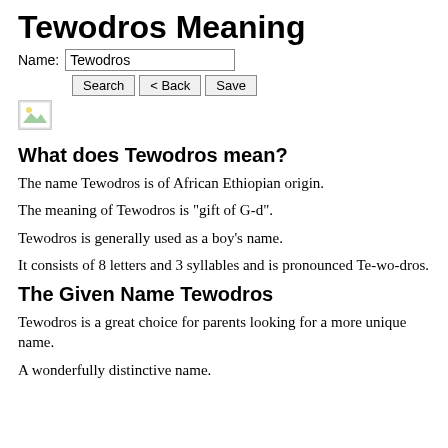Tewodros Meaning
Name: Tewodros [Search] [< Back] [Save]
What does Tewodros mean?
The name Tewodros is of African Ethiopian origin.
The meaning of Tewodros is "gift of G-d".
Tewodros is generally used as a boy's name.
It consists of 8 letters and 3 syllables and is pronounced Te-wo-dros.
The Given Name Tewodros
Tewodros is a great choice for parents looking for a more unique name.
A wonderfully distinctive name.